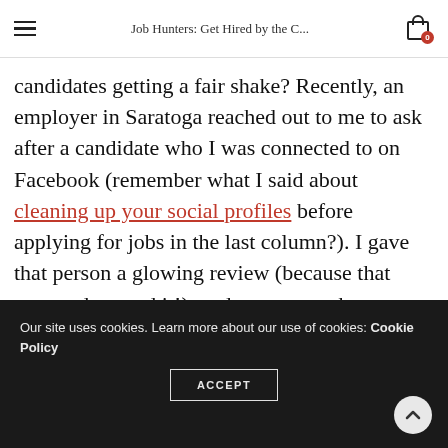Job Hunters: Get Hired by the C...
candidates getting a fair shake? Recently, an employer in Saratoga reached out to me to ask after a candidate who I was connected to on Facebook (remember what I said about cleaning up your social profiles before applying for jobs in the last column?). I gave that person a glowing review (because that person deserved it!), and even went the extra mile to hunt down two other character references that provided me with positive direct quotes about that person.
Our site uses cookies. Learn more about our use of cookies: Cookie Policy  ACCEPT